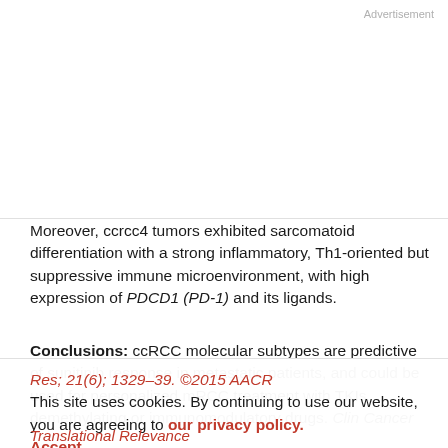Advertisement
Moreover, ccrcc4 tumors exhibited sarcomatoid differentiation with a strong inflammatory, Th1-oriented but suppressive immune microenvironment, with high expression of PDCD1 (PD-1) and its ligands.
Conclusions: ccRCC molecular subtypes are predictive of sunitinib response in metastatic patients, and could be used for personalized mRCC treatment with TKIs, demethylating or immunomodulatory drugs. Clin Cancer Res; 21(6); 1329–39. ©2015 AACR
This site uses cookies. By continuing to use our website, you are agreeing to our privacy policy.
Accept
Translational Relevance